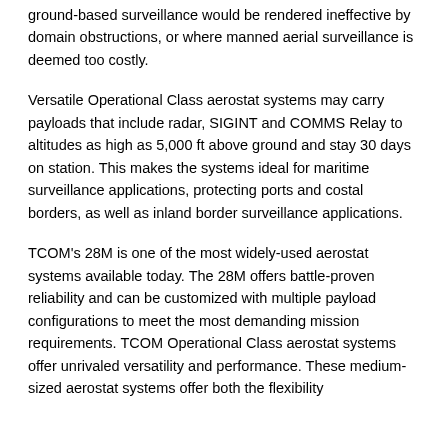ground-based surveillance would be rendered ineffective by domain obstructions, or where manned aerial surveillance is deemed too costly.
Versatile Operational Class aerostat systems may carry payloads that include radar, SIGINT and COMMS Relay to altitudes as high as 5,000 ft above ground and stay 30 days on station. This makes the systems ideal for maritime surveillance applications, protecting ports and costal borders, as well as inland border surveillance applications.
TCOM's 28M is one of the most widely-used aerostat systems available today. The 28M offers battle-proven reliability and can be customized with multiple payload configurations to meet the most demanding mission requirements. TCOM Operational Class aerostat systems offer unrivaled versatility and performance. These medium-sized aerostat systems offer both the flexibility